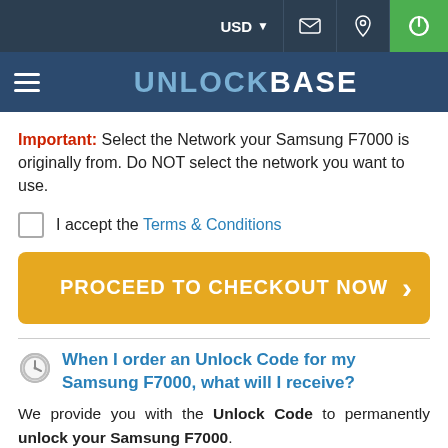USD | [mail icon] | [location icon] | [power icon]
UNLOCKBASE
Important: Select the Network your Samsung F7000 is originally from. Do NOT select the network you want to use.
I accept the Terms & Conditions
PROCEED TO CHECKOUT NOW
When I order an Unlock Code for my Samsung F7000, what will I receive?
We provide you with the Unlock Code to permanently unlock your Samsung F7000.
In case your Samsung F7000 requires multiple Unlock Codes,